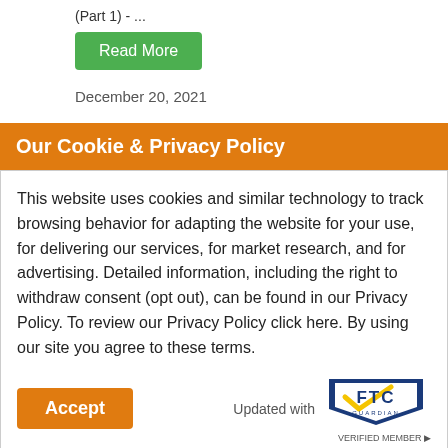(Part 1) - ...
Read More
December 20, 2021
Our Cookie & Privacy Policy
This website uses cookies and similar technology to track browsing behavior for adapting the website for your use, for delivering our services, for market research, and for advertising. Detailed information, including the right to withdraw consent (opt out), can be found in our Privacy Policy. To review our Privacy Policy click here. By using our site you agree to these terms.
Accept
Updated with
[Figure (logo): FTC Guardian Verified Member badge/logo]